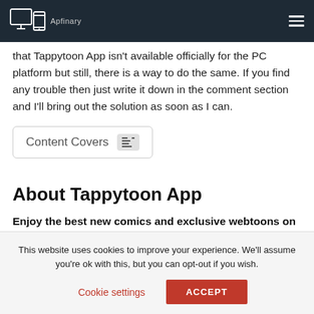Apfinary (logo/nav bar)
that Tappytoon App isn't available officially for the PC platform but still, there is a way to do the same. If you find any trouble then just write it down in the comment section and I'll bring out the solution as soon as I can.
Content Covers
About Tappytoon App
Enjoy the best new comics and exclusive webtoons on Tappytoon™!
Tappytoon™ is the official and trusted place to read hit exclusive
This website uses cookies to improve your experience. We'll assume you're ok with this, but you can opt-out if you wish.
Cookie settings   ACCEPT